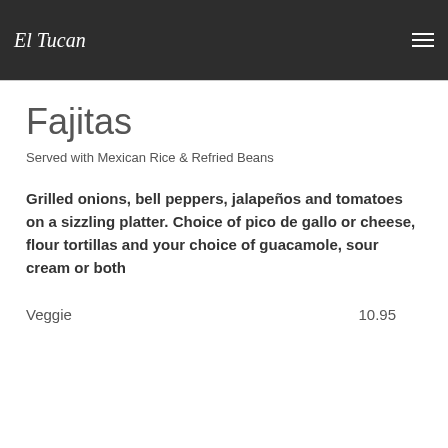One cheese enchilada, two tamates and one beef com taco...
El Tucan
Fajitas
Served with Mexican Rice & Refried Beans
Grilled onions, bell peppers, jalapeños and tomatoes on a sizzling platter. Choice of pico de gallo or cheese, flour tortillas and your choice of guacamole, sour cream or both
Veggie
10.95